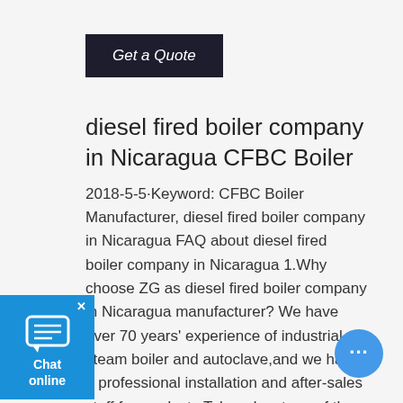[Figure (other): Dark button labeled 'Get a Quote' in italic white text on dark background]
diesel fired boiler company in Nicaragua CFBC Boiler
2018-5-5·Keyword: CFBC Boiler Manufacturer, diesel fired boiler company in Nicaragua FAQ about diesel fired boiler company in Nicaragua 1.Why choose ZG as diesel fired boiler company in Nicaragua manufacturer? We have over 70 years' experience of industrial steam boiler and autoclave,and we have a professional installation and after-sales staff for products.Take advantage of the most economical way
[Figure (other): Blue chat widget in bottom left corner showing chat icon and text 'Chat online' with close X button]
[Figure (other): Blue circular floating chat bubble in bottom right corner with ellipsis dots icon]